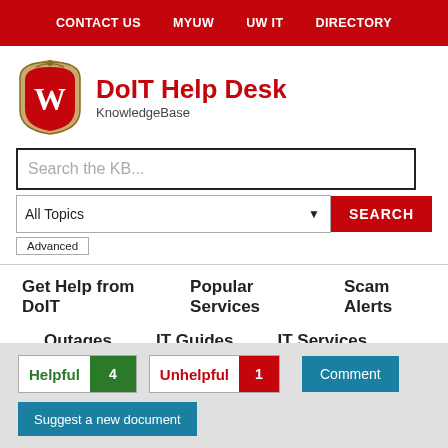CONTACT US   MYUW   UW IT   DIRECTORY
DoIT Help Desk KnowledgeBase
Search the KB...
All Topics   SEARCH   Advanced
Get Help from DoIT   Popular Services   Scam Alerts
Outages   IT Guides   IT Services
Helpful 4   Unhelpful 1   Comment
Suggest a new document